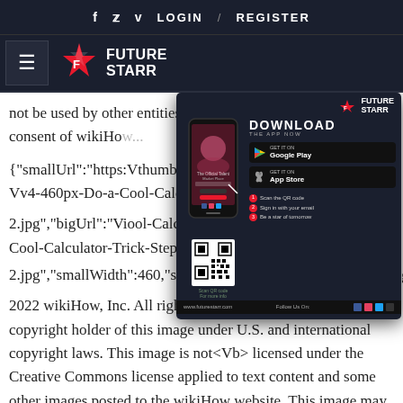f  t  v  LOGIN  /  REGISTER
[Figure (logo): FutureStarr logo with hamburger menu icon on dark navy background]
[Figure (screenshot): FutureStarr app download popup showing phone mockup, Google Play and App Store buttons, QR code, and three steps]
not be used by other entities without the express written consent of wikiHo...
{"smallUrl":"https:...VthumbV3V39VDo-a-Cool-Calculator-...v4-460px-Do-a-Cool-Calculator-T... 2.jpg","bigUrl":"Vi... ool-Calculator-Trick-Step-11-Ver... px-Do-a-Cool-Calculator-Trick-Step-11-Version-2.jpg","smallWidth":460,"smallHeight":345,"bigWidth":728,"bigHeight... 2022 wikiHow, Inc. All rights reserved. wikiHow, Inc. is the copyright holder of this image under U.S. and international copyright laws. This image is not<Vb> licensed under the Creative Commons license applied to text content and some other images posted to the wikiHow website. This image may